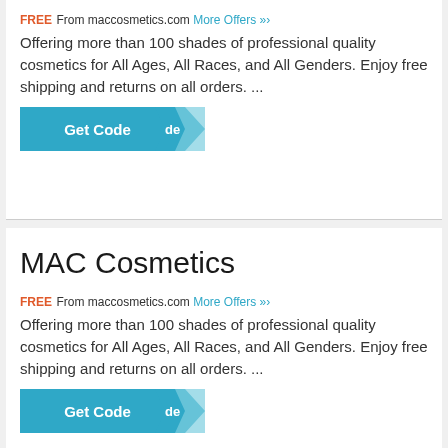FREE From maccosmetics.com More Offers »› Offering more than 100 shades of professional quality cosmetics for All Ages, All Races, and All Genders. Enjoy free shipping and returns on all orders. ...
[Figure (other): Get Code button with teal background and arrow ribbon accent]
MAC Cosmetics
FREE From maccosmetics.com More Offers »› Offering more than 100 shades of professional quality cosmetics for All Ages, All Races, and All Genders. Enjoy free shipping and returns on all orders. ...
[Figure (other): Get Code button with teal background and arrow ribbon accent]
[Figure (other): Scroll to top circular teal button with upward arrow]